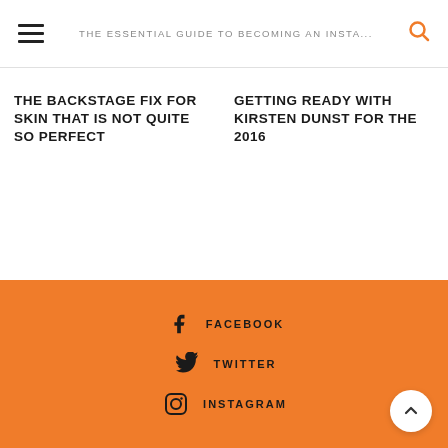THE ESSENTIAL GUIDE TO BECOMING AN INSTA...
THE BACKSTAGE FIX FOR SKIN THAT IS NOT QUITE SO PERFECT
GETTING READY WITH KIRSTEN DUNST FOR THE 2016
FACEBOOK  TWITTER  INSTAGRAM